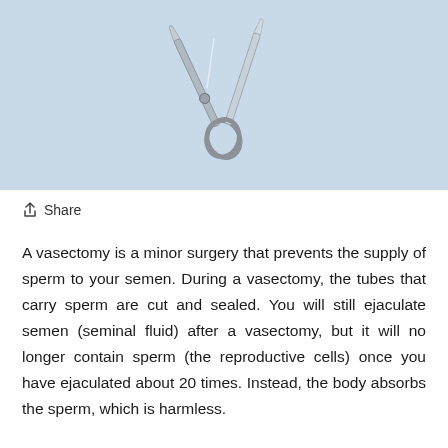[Figure (photo): Surgical scissors (hemostatic forceps/clamps) photographed on a light blue background, positioned diagonally with handles at bottom and blades crossing at top]
↑ Share
A vasectomy is a minor surgery that prevents the supply of sperm to your semen. During a vasectomy, the tubes that carry sperm are cut and sealed. You will still ejaculate semen (seminal fluid) after a vasectomy, but it will no longer contain sperm (the reproductive cells) once you have ejaculated about 20 times. Instead, the body absorbs the sperm, which is harmless.